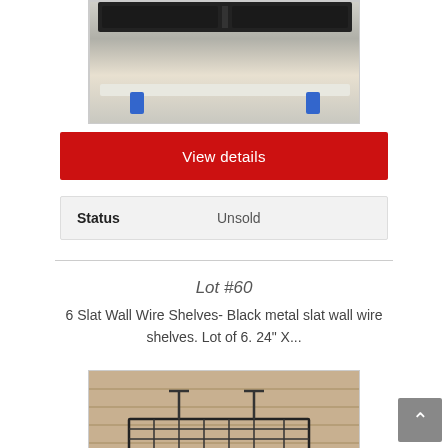[Figure (photo): Photo of a shelf with blue brackets and rubber mat on top, on a wooden surface background]
View details
| Status | Unsold |
| --- | --- |
Lot #60
6 Slat Wall Wire Shelves- Black metal slat wall wire shelves. Lot of 6. 24" X...
[Figure (photo): Photo of black metal wire shelf against a wooden background]